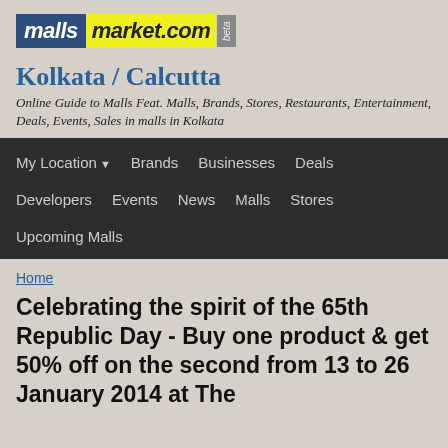[Figure (logo): mallsmarket.com beta logo — 'malls' in white on dark blue background, 'market.com' in black on yellow background, 'beta' tag on grey background rotated vertically]
Kolkata / Calcutta
Online Guide to Malls Feat. Malls, Brands, Stores, Restaurants, Entertainment, Deals, Events, Sales in malls in Kolkata
[Figure (screenshot): Navigation bar with dark background containing menu items: My Location (with dropdown arrow), Brands, Businesses, Deals, Developers, Events, News, Malls, Stores, Upcoming Malls]
Home
Celebrating the spirit of the 65th Republic Day - Buy one product & get 50% off on the second from 13 to 26 January 2014 at The